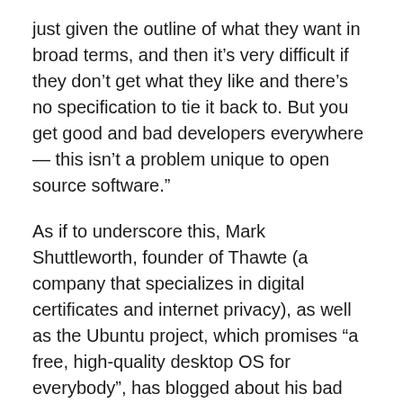just given the outline of what they want in broad terms, and then it’s very difficult if they don’t get what they like and there’s no specification to tie it back to. But you get good and bad developers everywhere — this isn’t a problem unique to open source software.”
As if to underscore this, Mark Shuttleworth, founder of Thawte (a company that specializes in digital certificates and internet privacy), as well as the Ubuntu project, which promises “a free, high-quality desktop OS for everybody”, has blogged about his bad experiences with open source development.
Shuttleworth found that paying geeks to write code without assigning them managers resulted in “shiny geek toys”, rather than the product he thought he was paying for.